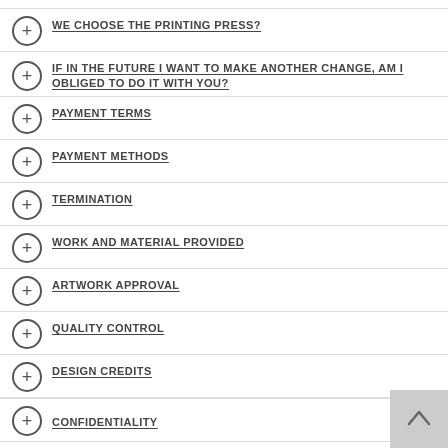WE CHOOSE THE PRINTING PRESS?
IF IN THE FUTURE I WANT TO MAKE ANOTHER CHANGE, AM I OBLIGED TO DO IT WITH YOU?
PAYMENT TERMS
PAYMENT METHODS
TERMINATION
WORK AND MATERIAL PROVIDED
ARTWORK APPROVAL
QUALITY CONTROL
DESIGN CREDITS
CONFIDENTIALITY